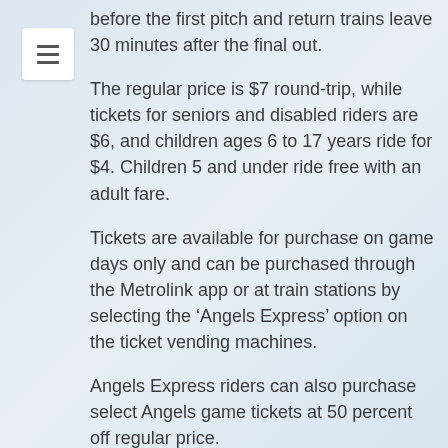before the first pitch and return trains leave 30 minutes after the final out.
The regular price is $7 round-trip, while tickets for seniors and disabled riders are $6, and children ages 6 to 17 years ride for $4. Children 5 and under ride free with an adult fare.
Tickets are available for purchase on game days only and can be purchased through the Metrolink app or at train stations by selecting the ‘Angels Express’ option on the ticket vending machines.
Angels Express riders can also purchase select Angels game tickets at 50 percent off regular price.
Last year, more than 37,000 fans got to an Angels game by using the service, which is also paid for by the Riverside County Transportation